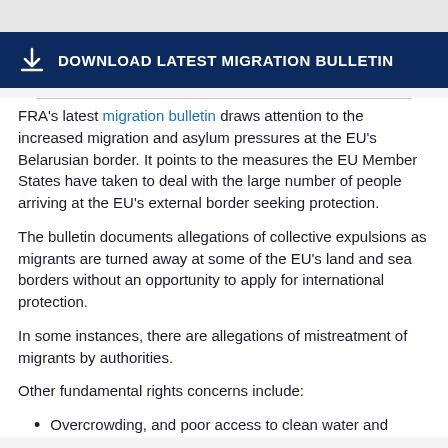[Figure (other): Download Latest Migration Bulletin banner button with download icon on dark navy background]
FRA's latest migration bulletin draws attention to the increased migration and asylum pressures at the EU's Belarusian border. It points to the measures the EU Member States have taken to deal with the large number of people arriving at the EU's external border seeking protection.
The bulletin documents allegations of collective expulsions as migrants are turned away at some of the EU's land and sea borders without an opportunity to apply for international protection.
In some instances, there are allegations of mistreatment of migrants by authorities.
Other fundamental rights concerns include:
Overcrowding, and poor access to clean water and